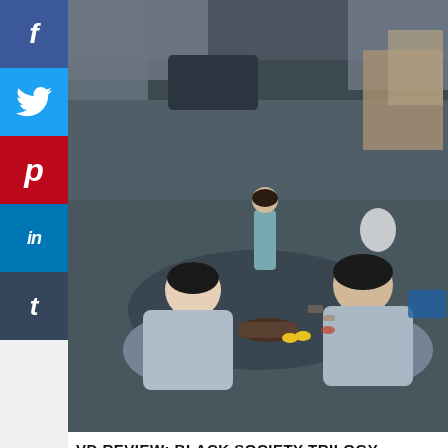[Figure (screenshot): Social media share buttons sidebar on left: Facebook (blue), Twitter (light blue), Pinterest (red), LinkedIn (dark blue), Tumblr (dark)]
[Figure (photo): Movie still from Black Society Trilogy showing overhead rooftop scene with two men in light blue shirts kneeling around a body, woman in blue dress standing in background, urban rooftop setting with various objects]
VD REVIEW: BLACK SOCIETY TRILOGY
[Figure (screenshot): Infolinks advertisement bar with dark background showing partial green-lit scene with person visible]
[Figure (screenshot): Wayfair advertisement banner: Top Appliances Low Prices, showing a stove/range appliance image, with text 'Save on best selling brands that live up to the hype' and purple 'Shop now' button]